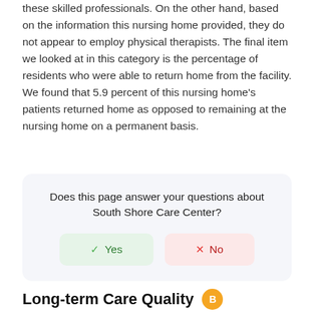these skilled professionals. On the other hand, based on the information this nursing home provided, they do not appear to employ physical therapists. The final item we looked at in this category is the percentage of residents who were able to return home from the facility. We found that 5.9 percent of this nursing home's patients returned home as opposed to remaining at the nursing home on a permanent basis.
Does this page answer your questions about South Shore Care Center? Yes / No
Long-term Care Quality B